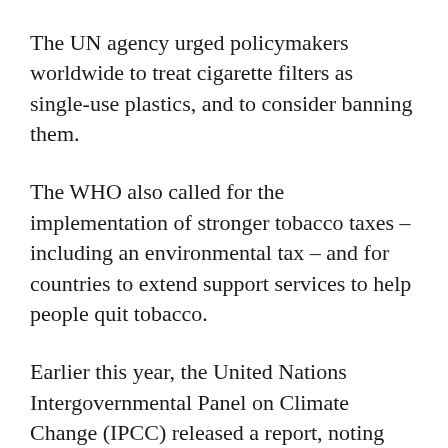The UN agency urged policymakers worldwide to treat cigarette filters as single-use plastics, and to consider banning them.
The WHO also called for the implementation of stronger tobacco taxes – including an environmental tax – and for countries to extend support services to help people quit tobacco.
Earlier this year, the United Nations Intergovernmental Panel on Climate Change (IPCC) released a report, noting that nearly half the world's population was already vulnerable to increasingly dangerous climate effects.